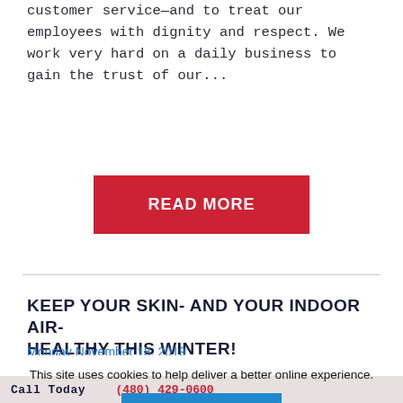customer service—and to treat our employees with dignity and respect. We work very hard on a daily business to gain the trust of our...
READ MORE
KEEP YOUR SKIN- AND YOUR INDOOR AIR- HEALTHY THIS WINTER!
Monday November 18, 2019
FOLLOW OUR EASY TIPS FOR SMOOTH, HEALTHY SKIN
As November unfolds, homeowners tend to shift gears in preparation for the seasonal changes.
This site uses cookies to help deliver a better online experience.
ACCEPT
Call Today    (480) 429-0600